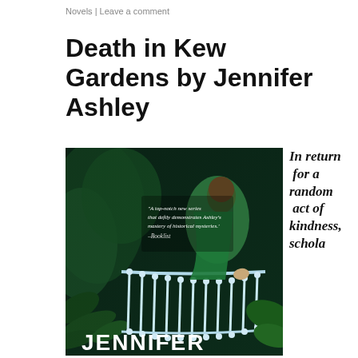Novels | Leave a comment
Death in Kew Gardens by Jennifer Ashley
[Figure (photo): Book cover of 'Death in Kew Gardens' by Jennifer Ashley. Features a figure in green on an ornate staircase surrounded by lush green plants. Quote from Booklist: 'A top-notch new series that deftly demonstrates Ashley's mastery of historical mysteries.' Author name JENNIFER visible at bottom.]
In return for a random act of kindness, schola